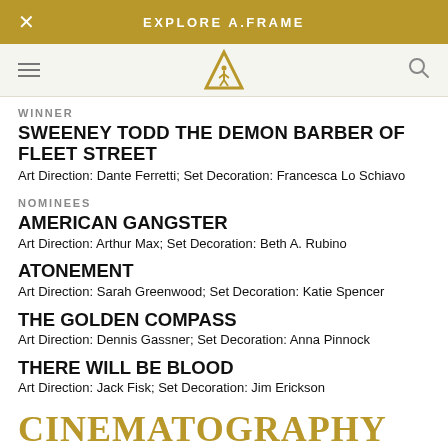EXPLORE A.FRAME
[Figure (logo): Academy Awards logo - gold A-frame triangle with figure on white nav bar]
WINNER
SWEENEY TODD THE DEMON BARBER OF FLEET STREET
Art Direction: Dante Ferretti; Set Decoration: Francesca Lo Schiavo
NOMINEES
AMERICAN GANGSTER
Art Direction: Arthur Max; Set Decoration: Beth A. Rubino
ATONEMENT
Art Direction: Sarah Greenwood; Set Decoration: Katie Spencer
THE GOLDEN COMPASS
Art Direction: Dennis Gassner; Set Decoration: Anna Pinnock
THERE WILL BE BLOOD
Art Direction: Jack Fisk; Set Decoration: Jim Erickson
CINEMATOGRAPHY